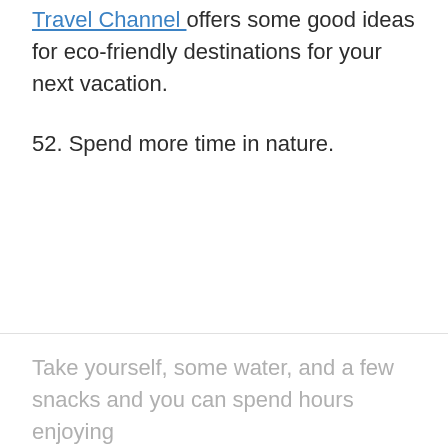Travel Channel offers some good ideas for eco-friendly destinations for your next vacation.
52. Spend more time in nature.
Take yourself, some water, and a few snacks and you can spend hours enjoying